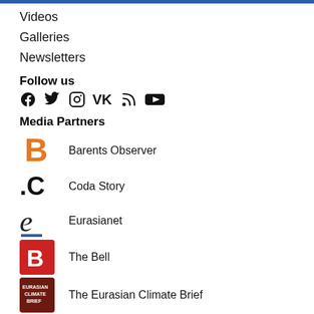Videos
Galleries
Newsletters
Follow us
[Figure (infographic): Social media icons: Facebook, Twitter, Instagram, VK, RSS, YouTube]
Media Partners
[Figure (logo): Barents Observer logo - orange B letter]
Barents Observer
[Figure (logo): Coda Story logo - .C symbol]
Coda Story
[Figure (logo): Eurasianet logo - italic e with blue underline]
Eurasianet
[Figure (logo): The Bell logo - red square with white B]
The Bell
[Figure (logo): The Eurasian Climate Brief logo - dark red square with text]
The Eurasian Climate Brief
[Figure (logo): Carnegie Endowment logo - dark blue square with white C circle]
Carnegie Endowment